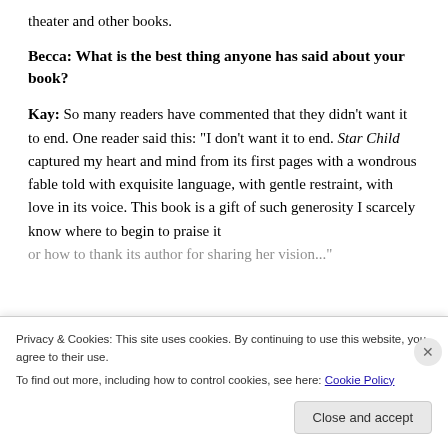theater and other books.
Becca: What is the best thing anyone has said about your book?
Kay: So many readers have commented that they didn't want it to end. One reader said this: “I don’t want it to end. Star Child captured my heart and mind from its first pages with a wondrous fable told with exquisite language, with gentle restraint, with love in its voice. This book is a gift of such generosity I scarcely know where to begin to praise it or how to thank its author for sharing her vision...”
Privacy & Cookies: This site uses cookies. By continuing to use this website, you agree to their use.
To find out more, including how to control cookies, see here: Cookie Policy